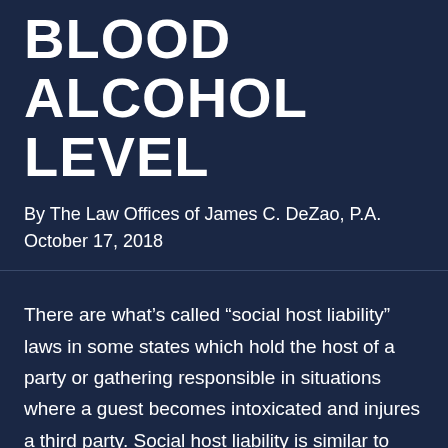BLOOD ALCOHOL LEVEL
By The Law Offices of James C. DeZao, P.A.
October 17, 2018
There are what’s called “social host liability” laws in some states which hold the host of a party or gathering responsible in situations where a guest becomes intoxicated and injures a third party. Social host liability is similar to dram shop laws. The difference is that dram shop laws impose